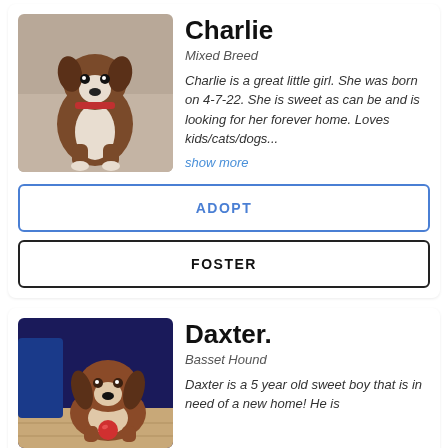[Figure (photo): Photo of Charlie, a brown and white mixed breed puppy sitting on a couch]
Charlie
Mixed Breed
Charlie is a great little girl. She was born on 4-7-22. She is sweet as can be and is looking for her forever home. Loves kids/cats/dogs...
show more
ADOPT
FOSTER
[Figure (photo): Photo of Daxter, a Basset Hound dog sitting on a wood floor with a blue backdrop]
Daxter.
Basset Hound
Daxter is a 5 year old sweet boy that is in need of a new home! He is